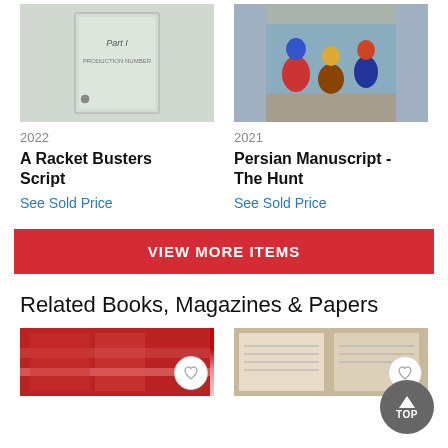[Figure (photo): Thumbnail of a script cover labeled Part I]
[Figure (photo): Thumbnail of people digging in sand/dirt with colorful clothing]
2022
2021
A Racket Busters Script
Persian Manuscript - The Hunt
See Sold Price
See Sold Price
VIEW MORE ITEMS
Related Books, Magazines & Papers
[Figure (photo): Bottom left thumbnail of books/magazines, red toned]
[Figure (photo): Bottom right thumbnail of open book pages]